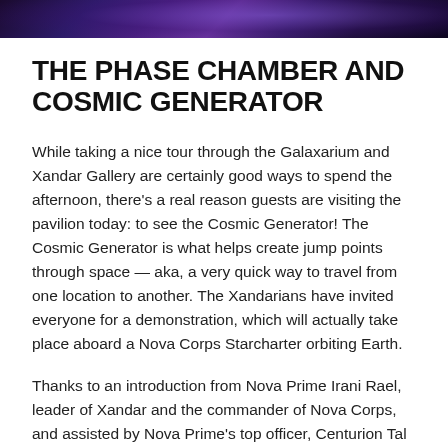[Figure (photo): Dark space/cosmic background image banner at the top of the page with purple and blue tones]
THE PHASE CHAMBER AND COSMIC GENERATOR
While taking a nice tour through the Galaxarium and Xandar Gallery are certainly good ways to spend the afternoon, there’s a real reason guests are visiting the pavilion today: to see the Cosmic Generator! The Cosmic Generator is what helps create jump points through space — aka, a very quick way to travel from one location to another. The Xandarians have invited everyone for a demonstration, which will actually take place aboard a Nova Corps Starcharter orbiting Earth.
Thanks to an introduction from Nova Prime Irani Rael, leader of Xandar and the commander of Nova Corps, and assisted by Nova Prime’s top officer, Centurion Tal Marik, get ready to travel into space (it’s